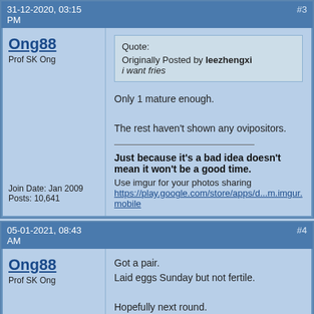31-12-2020, 03:15 PM   #3
Ong88
Prof SK Ong
Quote:
Originally Posted by leezhengxi
i want fries
Only 1 mature enough.

The rest haven't shown any ovipositors.
Just because it's a bad idea doesn't mean it won't be a good time.
Use imgur for your photos sharing
https://play.google.com/store/apps/d...m.imgur.mobile
Join Date: Jan 2009
Posts: 10,641
05-01-2021, 08:43 AM   #4
Ong88
Prof SK Ong
Got a pair.
Laid eggs Sunday but not fertile.

Hopefully next round.